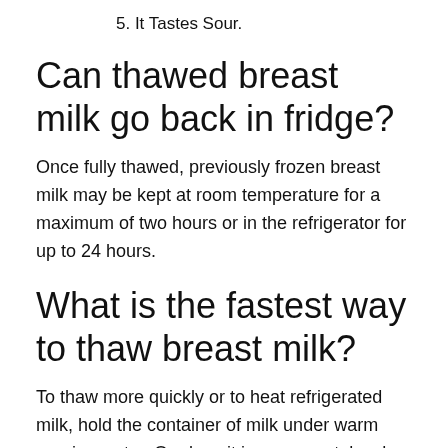5. It Tastes Sour.
Can thawed breast milk go back in fridge?
Once fully thawed, previously frozen breast milk may be kept at room temperature for a maximum of two hours or in the refrigerator for up to 24 hours.
What is the fastest way to thaw breast milk?
To thaw more quickly or to heat refrigerated milk, hold the container of milk under warm running water. Or place it in a cup, pot, bowl, or basin of warm water. Don’t thaw milk in